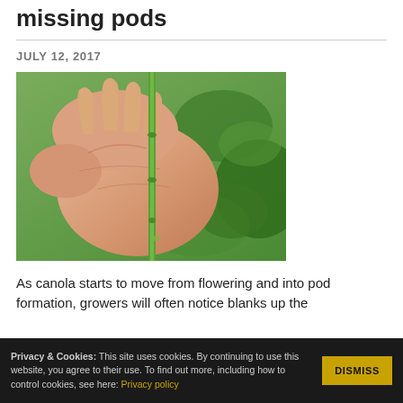missing pods
JULY 12, 2017
[Figure (photo): Close-up photograph of a human hand holding a slender green plant stem against a background of green canola leaves. The stem appears bare with no pods attached.]
As canola starts to move from flowering and into pod formation, growers will often notice blanks up the
Privacy & Cookies: This site uses cookies. By continuing to use this website, you agree to their use. To find out more, including how to control cookies, see here: Privacy policy
DISMISS